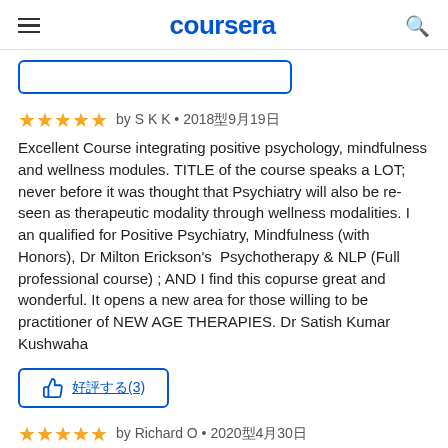coursera
★★★★★ by S K K • 2018年9月19日
Excellent Course integrating positive psychology, mindfulness and wellness modules. TITLE of the course speaks a LOT; never before it was thought that Psychiatry will also be re-seen as therapeutic modality through wellness modalities. I an qualified for Positive Psychiatry, Mindfulness (with Honors), Dr Milton Erickson's  Psychotherapy & NLP (Full professional course) ; AND I find this copurse great and wonderful. It opens a new area for those willing to be practitioner of NEW AGE THERAPIES. Dr Satish Kumar Kushwaha
👍 役に立った(3)
★★★★★ by Richard O • 2020年4月30日